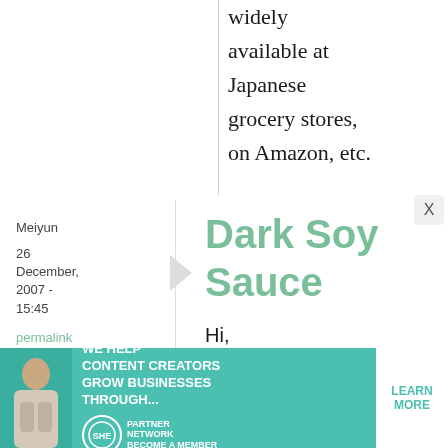widely available at Japanese grocery stores, on Amazon, etc.
Meiyun
26 December, 2007 - 15:45
permalink
Dark Soy Sauce
Hi,
Can I use Chinese dark
[Figure (infographic): Advertisement banner: WE HELP CONTENT CREATORS GROW BUSINESSES THROUGH... SHE PARTNER NETWORK BECOME A MEMBER — LEARN MORE button]